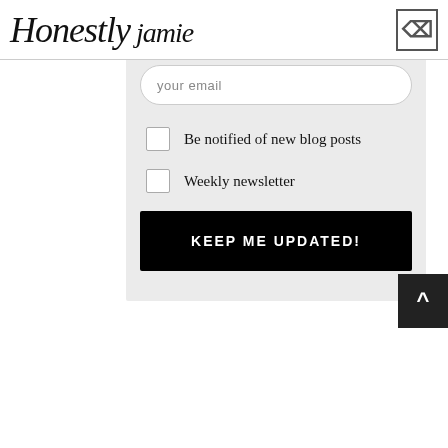Honestly Jamie
[Figure (screenshot): Email subscription form with email input field, two checkboxes for 'Be notified of new blog posts' and 'Weekly newsletter', and a 'KEEP ME UPDATED!' button]
Be notified of new blog posts
Weekly newsletter
KEEP ME UPDATED!